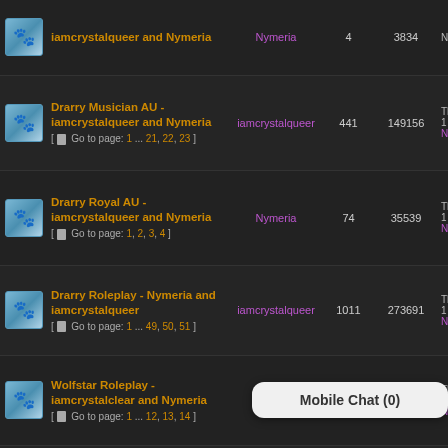|  | Topic | Last Post By | Replies | Views | Last Post |
| --- | --- | --- | --- | --- | --- |
| [icon] | Drarry Musician AU - iamcrystalqueer and Nymeria [Go to page: 1 ... 21, 22, 23] | iamcrystalqueer | 441 | 149156 | Thu Aug 1 Ny... |
| [icon] | Drarry Royal AU - iamcrystalqueer and Nymeria [Go to page: 1, 2, 3, 4] | Nymeria | 74 | 35539 | Thu Aug 1 Ny... |
| [icon] | Drarry Roleplay - Nymeria and iamcrystalqueer [Go to page: 1 ... 49, 50, 51] | iamcrystalqueer | 1011 | 273691 | Thu Aug 1 Ny... |
| [icon] | Wolfstar Roleplay - iamcrystalclear and Nymeria [Go to page: 1 ... 12, 13, 14] | Nymeria | 276 | 94134 | Thu Aug 1 Ny... |
| [icon] | Drarry Texting Muggle AU with Nymeria and iamcrystalqueer | iamcrystalqueer |  |  |  |
Mobile Chat (0)